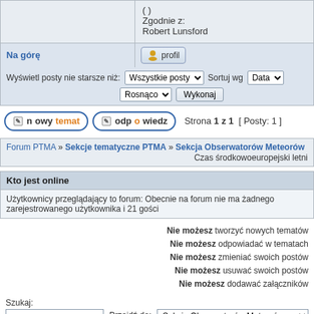|  | Zgodnie z:
Robert Lunsford |
| Na górę | [profil] |
Wyświetl posty nie starsze niż: Wszystkie posty ▾  Sortuj wg  Data ▾
Rosnąco ▾  Wykonaj
nowy temat   odpowiedz   Strona 1 z 1  [ Posty: 1 ]
Forum PTMA » Sekcje tematyczne PTMA » Sekcja Obserwatorów Meteorów
Czas środkowoeuropejski letni
Kto jest online
Użytkownicy przeglądający to forum: Obecnie na forum nie ma żadnego zarejestrowanego użytkownika i 21 gości
Nie możesz tworzyć nowych tematów
Nie możesz odpowiadać w tematach
Nie możesz zmieniać swoich postów
Nie możesz usuwać swoich postów
Nie możesz dodawać załączników
Szukaj:
Wykonaj
Przejdź do: Sekcja Obserwatorów Meteorów
Technologię dostarcza phpBB® Forum Software © phpBB Group